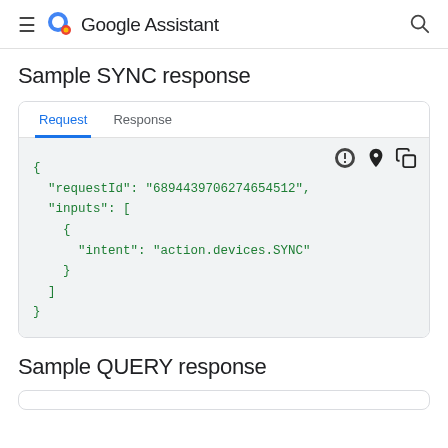≡ Google Assistant 🔍
Sample SYNC response
Request | Response
{
  "requestId": "6894439706274654512",
  "inputs": [
    {
      "intent": "action.devices.SYNC"
    }
  ]
}
Sample QUERY response